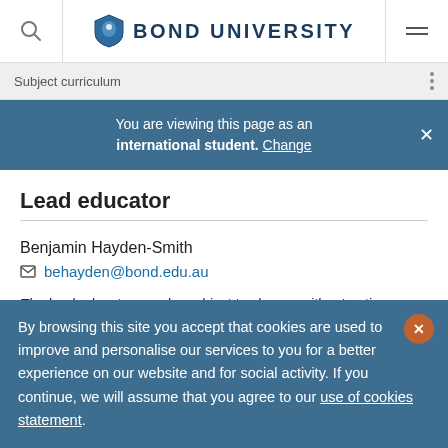BOND UNIVERSITY
Subject curriculum
You are viewing this page as an international student. Change
Lead educator
Benjamin Hayden-Smith
behayden@bond.edu.au
The lead educator may be subject to change without notice as circumstances arise.
By browsing this site you accept that cookies are used to improve and personalise our services to you for a better experience on our website and for social activity. If you continue, we will assume that you agree to our use of cookies statement.